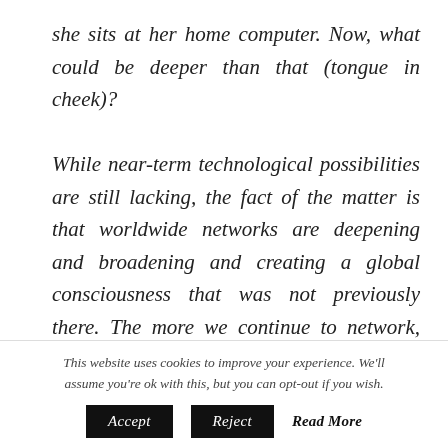she sits at her home computer. Now, what could be deeper than that (tongue in cheek)?

While near-term technological possibilities are still lacking, the fact of the matter is that worldwide networks are deepening and broadening and creating a global consciousness that was not previously there. The more we continue to network, the more symbiotic our actions will be. and the more we will benefit from
This website uses cookies to improve your experience. We'll assume you're ok with this, but you can opt-out if you wish.